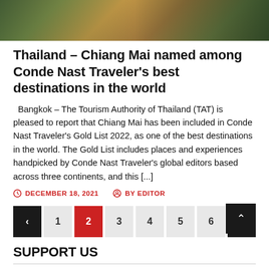[Figure (photo): Aerial/overhead view of a scenic landscape with trees and roads, decorative header image]
Thailand – Chiang Mai named among Conde Nast Traveler's best destinations in the world
Bangkok – The Tourism Authority of Thailand (TAT) is pleased to report that Chiang Mai has been included in Conde Nast Traveler's Gold List 2022, as one of the best destinations in the world. The Gold List includes places and experiences handpicked by Conde Nast Traveler's global editors based across three continents, and this [...]
DECEMBER 18, 2021   BY EDITOR
Pagination: < 1 2 3 4 5 6 >
SUPPORT US